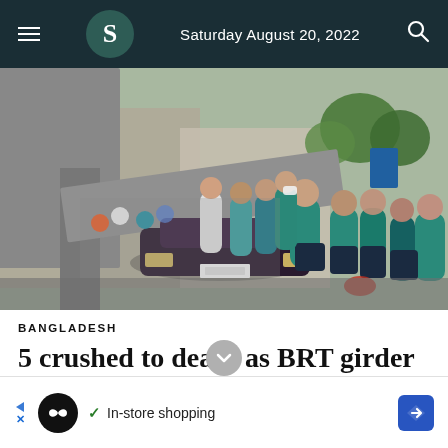Saturday August 20, 2022
[Figure (photo): A large concrete girder or beam has fallen onto a dark-colored car (Toyota) in an urban street. A crowd of people, many wearing teal/blue shirts, stand around observing. Emergency responders and bystanders surround the crushed vehicle. Trees and buildings visible in background.]
BANGLADESH
5 crushed to death as BRT girder falls on
In-store shopping